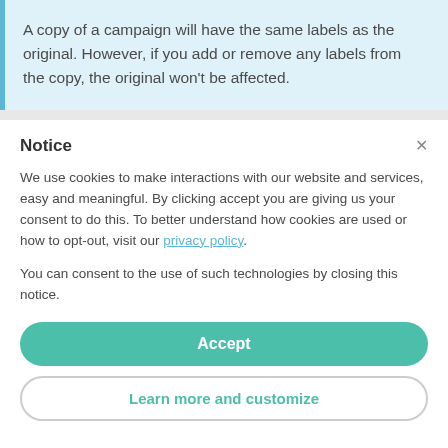A copy of a campaign will have the same labels as the original. However, if you add or remove any labels from the copy, the original won't be affected.
Notice
We use cookies to make interactions with our website and services, easy and meaningful. By clicking accept you are giving us your consent to do this. To better understand how cookies are used or how to opt-out, visit our privacy policy.
You can consent to the use of such technologies by closing this notice.
Accept
Learn more and customize